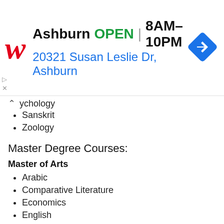[Figure (other): Walgreens advertisement banner showing store location in Ashburn, OPEN 8AM-10PM, address 20321 Susan Leslie Dr, Ashburn, with Walgreens logo and map/directions icon]
…ychology (partial, cut off at top)
Sanskrit
Zoology
Master Degree Courses:
Master of Arts
Arabic
Comparative Literature
Economics
English
Politics
Women Studies
Sociology
Folklore Studies (partial, cut off at bottom)